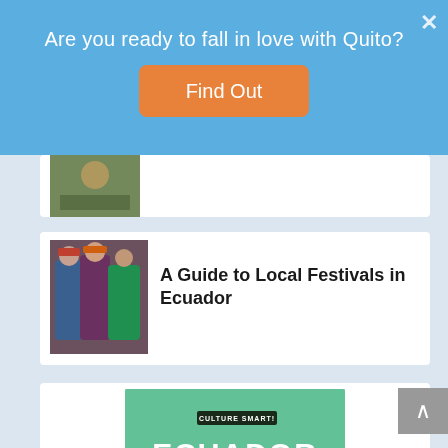Are you ready to fall in love with Quito?
Find Out
[Figure (photo): Thumbnail photo, partially visible at top of card]
A Guide to Local Festivals in Ecuador
[Figure (photo): Photo of people in colorful traditional dress at a festival in Ecuador]
[Figure (illustration): Book cover: Culture Smart! Ecuador - The Essential Guide to Customs & Culture by Russell Maddicks. Green cover with circular photo of flowers/food and background street scene.]